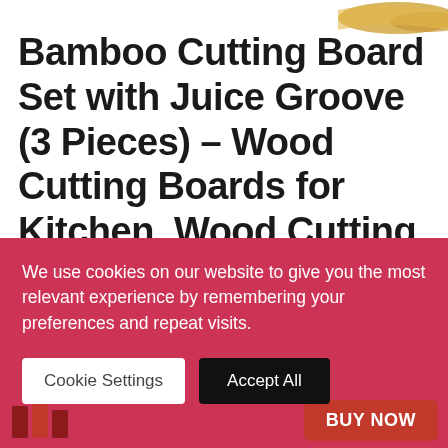[Figure (illustration): Partial top view of bamboo cutting boards product image, cropped at top of page]
Bamboo Cutting Board Set with Juice Groove (3 Pieces) – Wood Cutting Boards for Kitchen, Wood Cutting Board Set, Kitchen Chopping Board for Meat (Butcher Block) Cheese and Vegetables
We use cookies on our website to give you the most relevant experience by remembering your preferences and repeat visits.
Cookie Settings | Accept All